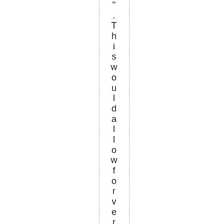". This would allow for very fine co